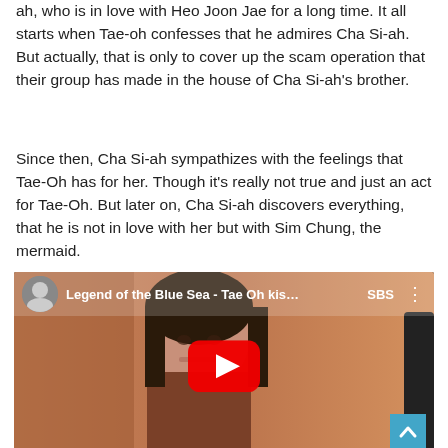ah, who is in love with Heo Joon Jae for a long time. It all starts when Tae-oh confesses that he admires Cha Si-ah. But actually, that is only to cover up the scam operation that their group has made in the house of Cha Si-ah's brother.
Since then, Cha Si-ah sympathizes with the feelings that Tae-Oh has for her. Though it's really not true and just an act for Tae-Oh. But later on, Cha Si-ah discovers everything, that he is not in love with her but with Sim Chung, the mermaid.
[Figure (screenshot): YouTube video thumbnail for 'Legend of the Blue Sea - Tae Oh kis...' showing a young woman (actress) with an SBS logo in the top right, a red YouTube play button in the center, and a scroll-to-top button in the bottom right corner.]